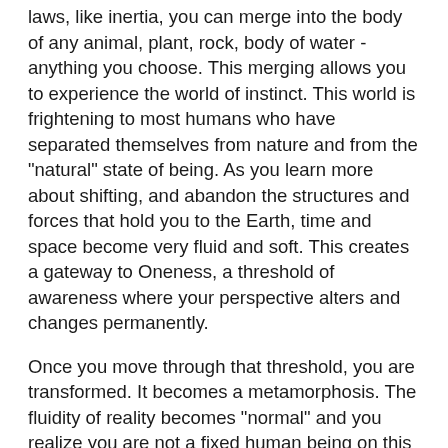laws, like inertia, you can merge into the body of any animal, plant, rock, body of water - anything you choose. This merging allows you to experience the world of instinct. This world is frightening to most humans who have separated themselves from nature and from the "natural" state of being. As you learn more about shifting, and abandon the structures and forces that hold you to the Earth, time and space become very fluid and soft. This creates a gateway to Oneness, a threshold of awareness where your perspective alters and changes permanently.
Once you move through that threshold, you are transformed. It becomes a metamorphosis. The fluidity of reality becomes "normal" and you realize you are not a fixed human being on this planet but a mutidimensional being with the potential of experiencing an infinite number of lifetimes, worlds, and shapes. One important thing to remember in practicing shape shifting is that nothing is what it seems to be, especially time, matter, and space. On a very basic level, shifting allows for a richer and fuller perspective of life and experience. As a way to gather information and build magickal skill, shape shifting connects you with your creative